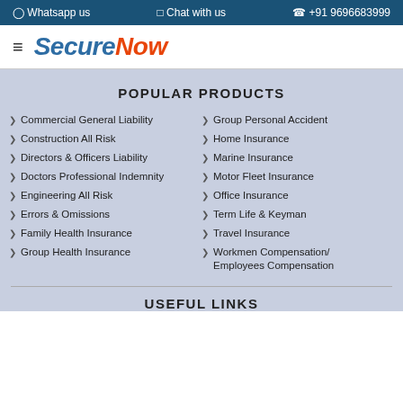Whatsapp us   Chat with us   +91 9696683999
[Figure (logo): SecureNow logo with hamburger menu icon]
POPULAR PRODUCTS
Commercial General Liability
Group Personal Accident
Construction All Risk
Home Insurance
Directors & Officers Liability
Marine Insurance
Doctors Professional Indemnity
Motor Fleet Insurance
Engineering All Risk
Office Insurance
Errors & Omissions
Term Life & Keyman
Family Health Insurance
Travel Insurance
Group Health Insurance
Workmen Compensation/ Employees Compensation
USEFUL LINKS